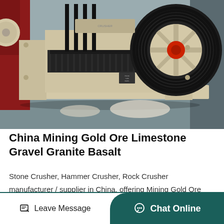[Figure (photo): Industrial jaw crusher / stone crusher machine with large black flywheel pulley, cream/beige painted heavy machinery frame, red hub, photographed in an industrial setting]
China Mining Gold Ore Limestone Gravel Granite Basalt
Stone Crusher, Hammer Crusher, Rock Crusher manufacturer / supplier in China, offering Mining Gold Ore Limestone Gravel Granite Basalt Quartz Concrete Clinker Coal Stone Rock Mobile…